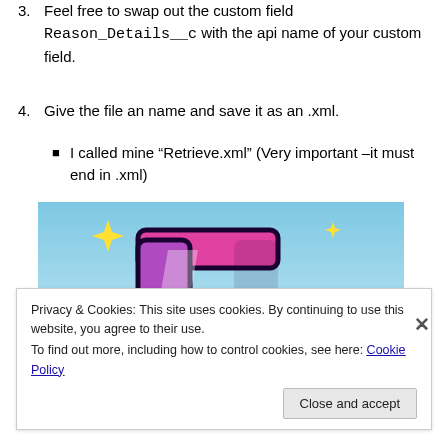3. Feel free to swap out the custom field Reason_Details__c with the api name of your custom field.
4. Give the file an name and save it as an .xml.
I called mine “Retrieve.xml” (Very important –it must end in .xml)
[Figure (illustration): Decorative logo/banner with a pink and purple letter T on a blue sky background with yellow sparkle stars and a white curved horizon.]
Privacy & Cookies: This site uses cookies. By continuing to use this website, you agree to their use.
To find out more, including how to control cookies, see here: Cookie Policy
Close and accept